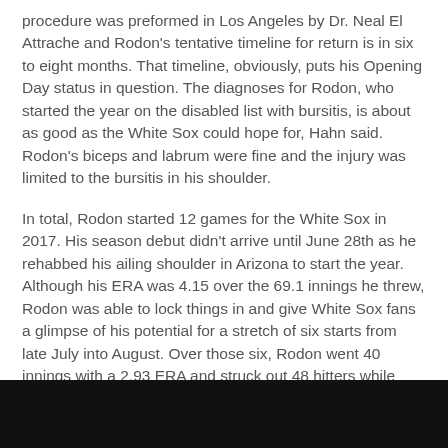procedure was preformed in Los Angeles by Dr. Neal El Attrache and Rodon's tentative timeline for return is in six to eight months. That timeline, obviously, puts his Opening Day status in question. The diagnoses for Rodon, who started the year on the disabled list with bursitis, is about as good as the White Sox could hope for, Hahn said. Rodon's biceps and labrum were fine and the injury was limited to the bursitis in his shoulder.
In total, Rodon started 12 games for the White Sox in 2017. His season debut didn't arrive until June 28th as he rehabbed his ailing shoulder in Arizona to start the year. Although his ERA was 4.15 over the 69.1 innings he threw, Rodon was able to lock things in and give White Sox fans a glimpse of his potential for a stretch of six starts from late July into August. Over those six, Rodon went 40 innings with a 2.93 ERA and struck out 48 hitters while walking only 12.
It's not the first injury for Rodon. He sprained his wrist in the 2016 season, which interrupted a comeback-type second half, and